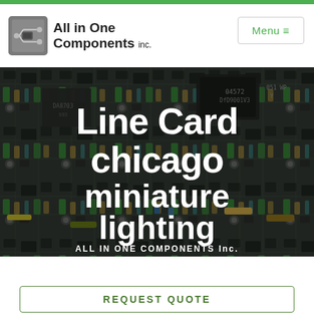[Figure (logo): All in One Components Inc. logo with circuit board icon and company name]
Menu ≡
[Figure (photo): Close-up photo of electronic circuit board components (resistors, capacitors, ICs) with overlaid text: 'Line Card chicago miniature lighting' and 'ALL IN ONE COMPONENTS Inc.']
Line Card chicago miniature lighting
ALL IN ONE COMPONENTS Inc.
REQUEST QUOTE